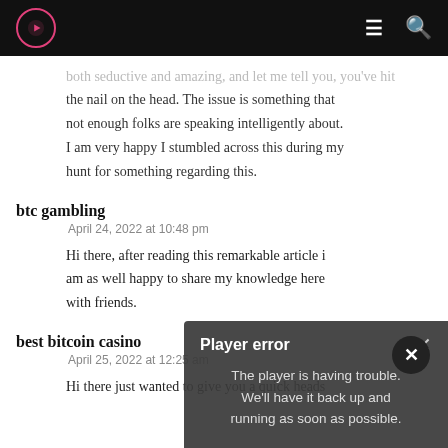Navigation header with logo, hamburger menu, and search icon
both seductive and amazing, and let me tell you, you've hit the nail on the head. The issue is something that not enough folks are speaking intelligently about. I am very happy I stumbled across this during my hunt for something regarding this.
btc gambling
April 24, 2022 at 10:48 pm
Hi there, after reading this remarkable article i am as well happy to share my knowledge here with friends.
best bitcoin casino
April 25, 2022 at 12:25 am
Hi there just wanted to give you a quick heads
[Figure (screenshot): Player error overlay box with close button, showing message: The player is having trouble. We'll have it back up and running as soon as possible.]